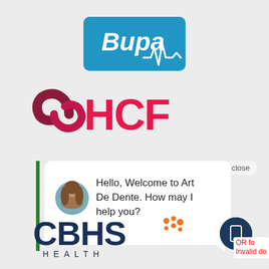[Figure (logo): Bupa logo: blue rounded rectangle background with white italic 'Bupa' text and white heartbeat/ECG line graphic]
[Figure (logo): HCF logo: dark red swirl icon on left followed by bold red 'HCF' text]
[Figure (screenshot): Chat widget showing 'close' button, green left border, circular avatar of a woman, and chat bubble text: Hello, Welcome to Art De Dente. How may I help you?]
[Figure (logo): CBHS Health logo: dark navy bold 'CBHS' with orange dot cluster icon, and 'HEALTH' in spaced capitals below]
[Figure (illustration): Dark navy circle with white smartphone/tablet icon inside]
OR fo Invalid do